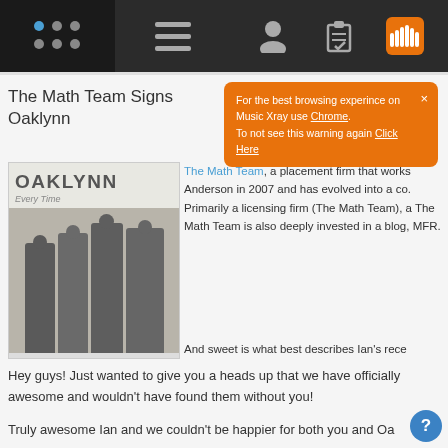[Figure (screenshot): Navigation bar with dark background, dot grid logo on left, hamburger menu, user icon, clipboard icon, and active SoundCloud-style orange icon on the right]
For the best browsing experince on Music Xray use Chrome. To not see this warning again Click Here
The Math Team Signs Oaklynn
[Figure (photo): Oaklynn album cover 'Every Time' showing four band members standing against a white wall in black and white]
The Math Team, a placement firm that works Anderson in 2007 and has evolved into a co. Primarily a licensing firm (The Math Team), a The Math Team is also deeply invested in a blog, MFR.
And sweet is what best describes Ian's rece
Hey guys! Just wanted to give you a heads up that we have officially awesome and wouldn't have found them without you!
Truly awesome Ian and we couldn't be happier for both you and Oa